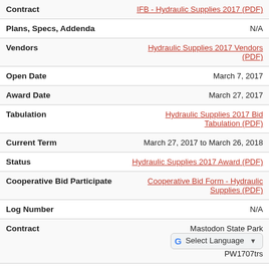| Field | Value |
| --- | --- |
| Contract | IFB - Hydraulic Supplies 2017 (PDF) |
| Plans, Specs, Addenda | N/A |
| Vendors | Hydraulic Supplies 2017 Vendors (PDF) |
| Open Date | March 7, 2017 |
| Award Date | March 27, 2017 |
| Tabulation | Hydraulic Supplies 2017 Bid Tabulation (PDF) |
| Current Term | March 27, 2017 to March 26, 2018 |
| Status | Hydraulic Supplies 2017 Award (PDF) |
| Cooperative Bid Participate | Cooperative Bid Form - Hydraulic Supplies (PDF) |
| Log Number | N/A |
| Contract | Mastodon State Park PW1707trs |